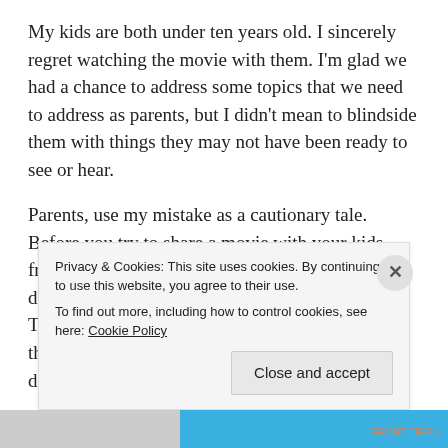My kids are both under ten years old. I sincerely regret watching the movie with them. I'm glad we had a chance to address some topics that we need to address as parents, but I didn't mean to blindside them with things they may not have been ready to see or hear.
Parents, use my mistake as a cautionary tale. Before you try to share a movie with your kids from your own childhood, preview it yourself. It doesn't matter if it is rated PG or G or whatever. Times have changed since you were a kid. Stuff that was okay then isn't okay now. Then if you decide to watch it anyway, be willing to stop
Privacy & Cookies: This site uses cookies. By continuing to use this website, you agree to their use.
To find out more, including how to control cookies, see here: Cookie Policy
Close and accept